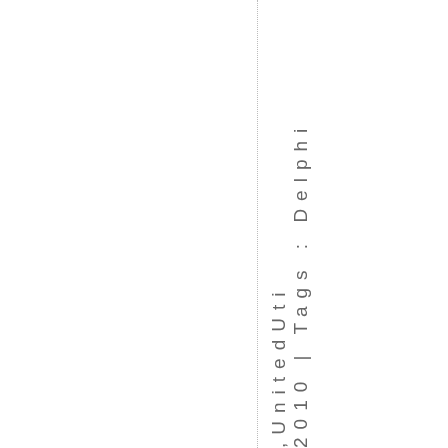2010 | Tags: Delphi, UnitedUti